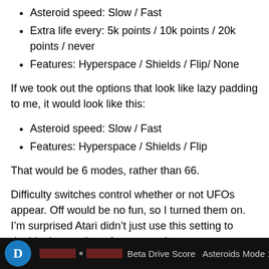Asteroid speed: Slow / Fast
Extra life every: 5k points / 10k points / 20k points / never
Features: Hyperspace / Shields / Flip/ None
If we took out the options that look like lazy padding to me, it would look like this:
Asteroid speed: Slow / Fast
Features: Hyperspace / Shields / Flip
That would be 6 modes, rather than 66.
Difficulty switches control whether or not UFOs appear. Off would be no fun, so I turned them on. I’m surprised Atari didn’t just use this setting to double the number of game modes.
Mode 1: Slow, extra lives at 5,000 pts, hyperspace
[Figure (screenshot): Dark screenshot strip showing a video player thumbnail with a blue circle icon containing letter D and text 'Beta Drive Score Asteroids Mode 1 (At...']